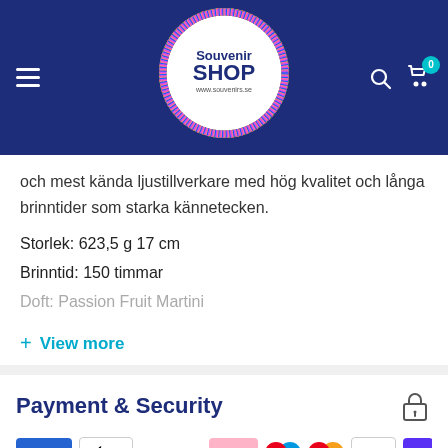Souvenir Shop - www.souvenirs.se
och mest kända ljustillverkare med hög kvalitet och långa brinntider som starka kännetecken.
Storlek: 623,5 g 17 cm
Brinntid: 150 timmar
Doft: Passion Fruit Martini
+ View more
Payment & Security
[Figure (logo): Payment method logos: AMEX, Apple Pay, Google Pay, Klarna, Maestro, Mastercard, PayPal, Shop Pay, Visa]